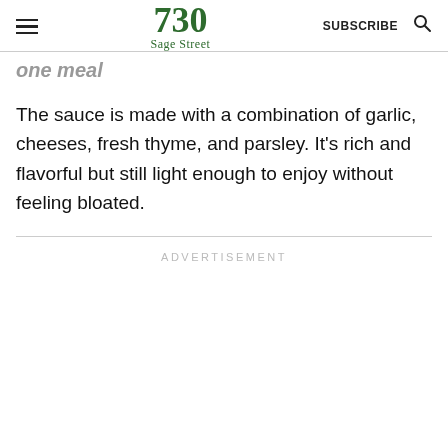730 Sage Street — SUBSCRIBE
one meal
The sauce is made with a combination of garlic, cheeses, fresh thyme, and parsley. It's rich and flavorful but still light enough to enjoy without feeling bloated.
ADVERTISEMENT